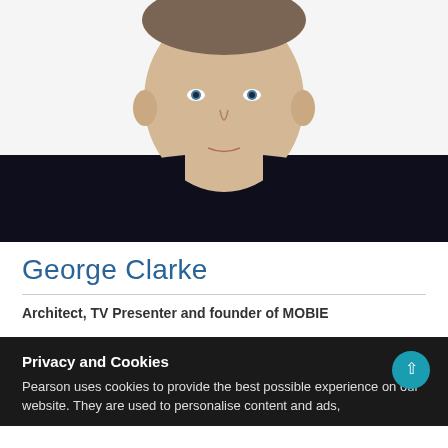[Figure (photo): Headshot photo of George Clarke, a man in a dark/black t-shirt against a white background, cropped at the chest level]
George Clarke
Architect, TV Presenter and founder of MOBIE
Privacy and Cookies
Pearson uses cookies to provide the best possible experience on our website. They are used to personalise content and ads,